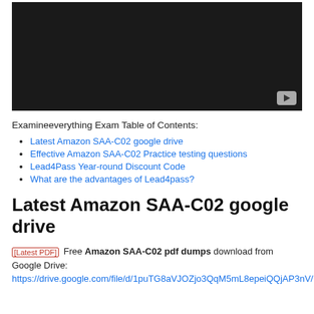[Figure (screenshot): Dark video player thumbnail with YouTube play button icon in bottom-right corner]
Examineeverything Exam Table of Contents:
Latest Amazon SAA-C02 google drive
Effective Amazon SAA-C02 Practice testing questions
Lead4Pass Year-round Discount Code
What are the advantages of Lead4pass?
Latest Amazon SAA-C02 google drive
[Latest PDF] Free Amazon SAA-C02 pdf dumps download from Google Drive: https://drive.google.com/file/d/1puTG8aVJOZjo3QqM5mL8epeiQQjAP3nV/